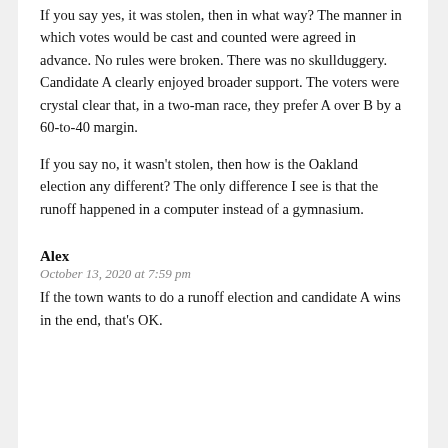If you say yes, it was stolen, then in what way? The manner in which votes would be cast and counted were agreed in advance. No rules were broken. There was no skullduggery. Candidate A clearly enjoyed broader support. The voters were crystal clear that, in a two-man race, they prefer A over B by a 60-to-40 margin.
If you say no, it wasn't stolen, then how is the Oakland election any different? The only difference I see is that the runoff happened in a computer instead of a gymnasium.
Alex
October 13, 2020 at 7:59 pm
If the town wants to do a runoff election and candidate A wins in the end, that's OK.